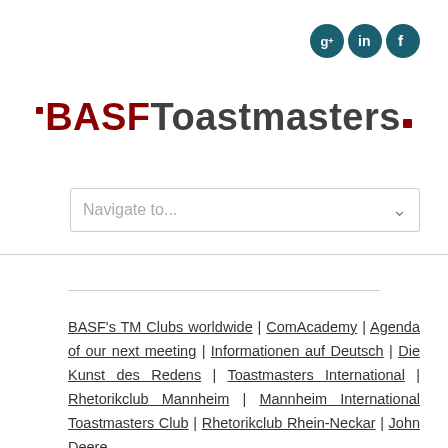[Figure (logo): Social media icons: Google+, LinkedIn, Facebook — three dark teal circles with white icons]
BASF Toastmasters
Navigate to...
BASF's TM Clubs worldwide | ComAcademy | Agenda of our next meeting | Informationen auf Deutsch | Die Kunst des Redens | Toastmasters International | Rhetorikclub Mannheim | Mannheim International Toastmasters Club | Rhetorikclub Rhein-Neckar | John Deere